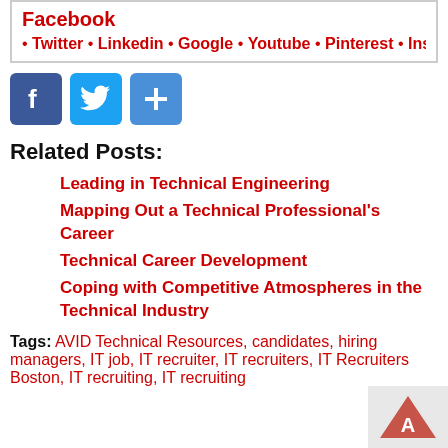Facebook
Twitter • Linkedin • Google • Youtube • Pinterest • Ins...
[Figure (illustration): Three social media share buttons: Facebook (blue f icon), Twitter (blue bird icon), and a blue share/plus icon]
Related Posts:
Leading in Technical Engineering
Mapping Out a Technical Professional's Career
Technical Career Development
Coping with Competitive Atmospheres in the Technical Industry
Tags: AVID Technical Resources, candidates, hiring managers, IT job, IT recruiter, IT recruiters, IT Recruiters Boston, IT recruiting, IT recruiting ...
[Figure (logo): AVID Technical Resources logo — triangular shape with 'A' letter on grey background]